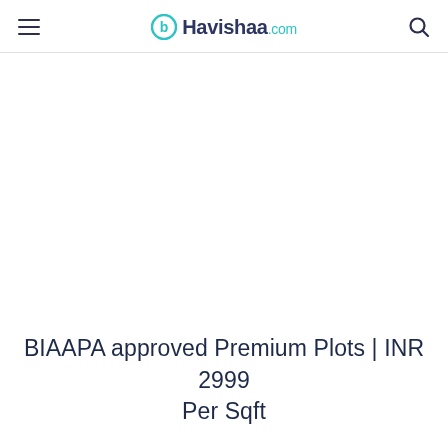Havishaa.com
BIAAPA approved Premium Plots | INR 2999 Per Sqft